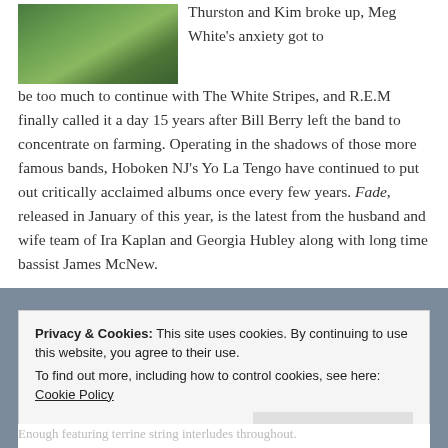[Figure (photo): Partial photo of a green landscape with trees near water, cropped at top]
Thurston and Kim broke up, Meg White's anxiety got to be too much to continue with The White Stripes, and R.E.M finally called it a day 15 years after Bill Berry left the band to concentrate on farming. Operating in the shadows of those more famous bands, Hoboken NJ's Yo La Tengo have continued to put out critically acclaimed albums once every few years. Fade, released in January of this year, is the latest from the husband and wife team of Ira Kaplan and Georgia Hubley along with long time bassist James McNew.
Privacy & Cookies: This site uses cookies. By continuing to use this website, you agree to their use.
To find out more, including how to control cookies, see here: Cookie Policy
Close and accept
Enough featuring terrine string interludes throughout.